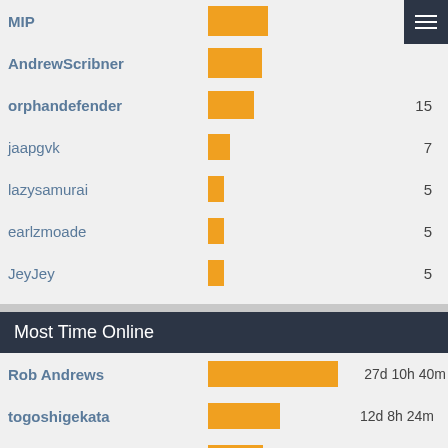[Figure (bar-chart): Top section (partial)]
Most Time Online
[Figure (bar-chart): Most Time Online]